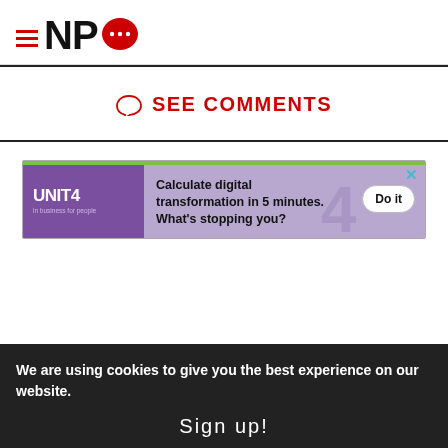[Figure (logo): NPQ logo with hamburger menu icon (three red lines) and red speech bubble with dots]
SEE COMMENTS
[Figure (screenshot): UNIT4 advertisement: Calculate digital transformation in 5 minutes. What's stopping you? Do it button.]
We are using cookies to give you the best experience on our website.
Sign up!